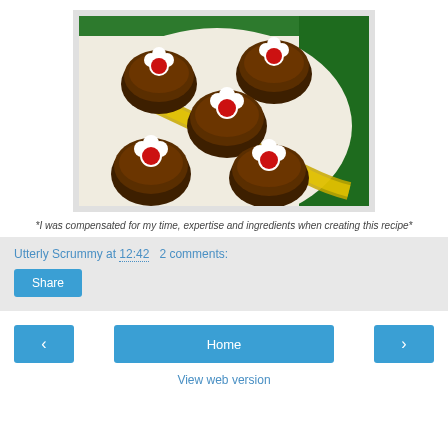[Figure (photo): Chocolate truffle/pudding desserts decorated with white fondant flowers and red candy centers, arranged on a white plate with a gold ribbon, with green foil background]
*I was compensated for my time, expertise and ingredients when creating this recipe*
Utterly Scrummy at 12:42   2 comments:
Share
‹
Home
›
View web version